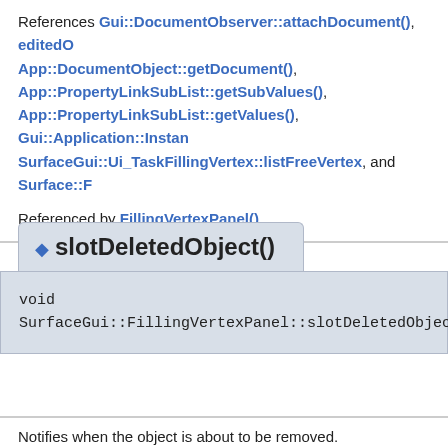References Gui::DocumentObserver::attachDocument(), editedO App::DocumentObject::getDocument(), App::PropertyLinkSubList::getSubValues(), App::PropertyLinkSubList::getValues(), Gui::Application::Instan SurfaceGui::Ui_TaskFillingVertex::listFreeVertex, and Surface::F
Referenced by FillingVertexPanel().
◆ slotDeletedObject()
void SurfaceGui::FillingVertexPanel::slotDeletedObject ( const Gu
Notifies when the object is about to be removed.